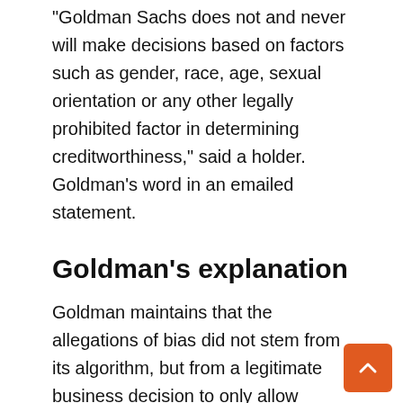“Goldman Sachs does not and never will make decisions based on factors such as gender, race, age, sexual orientation or any other legally prohibited factor in determining creditworthiness,” said a holder. Goldman’s word in an emailed statement.
Goldman’s explanation
Goldman maintains that the allegations of bias did not stem from its algorithm, but from a legitimate business decision to only allow individual accounts when applying for a loan.
Marcus, like Apple Card, does not allow joint borrowers or any form of co-borrower or co-